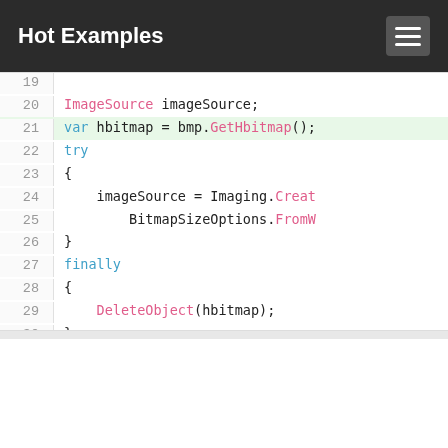Hot Examples
[Figure (screenshot): Code snippet showing C# code lines 19–33 with syntax highlighting. Line 21 is highlighted in green. Code includes ImageSource, var hbitmap = bmp.GetHbitmap(), try/finally block, DeleteObject(hbitmap), and return imageSource.]